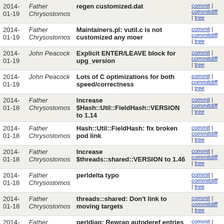| Date | Author | Message | Links |
| --- | --- | --- | --- |
| 2014-01-19 | Father Chrysostomos | regen customized.dat | commit | commitdiff | tree |
| 2014-01-19 | Father Chrysostomos | Maintainers.pl: vutil.c is not customized any moer | commit | commitdiff | tree |
| 2014-01-19 | John Peacock | Explicit ENTER/LEAVE block for upg_version | commit | commitdiff | tree |
| 2014-01-19 | John Peacock | Lots of C optimizations for both speed/correctness | commit | commitdiff | tree |
| 2014-01-18 | Father Chrysostomos | Increase $Hash::Util::FieldHash::VERSION to 1.14 | commit | commitdiff | tree |
| 2014-01-18 | Father Chrysostomos | Hash::Util::FieldHash: fix broken pod link | commit | commitdiff | tree |
| 2014-01-18 | Father Chrysostomos | Increase $threads::shared::VERSION to 1.46 | commit | commitdiff | tree |
| 2014-01-18 | Father Chrysostomos | perldelta typo | commit | commitdiff | tree |
| 2014-01-18 | Father Chrysostomos | threads::shared: Don't link to moving targets | commit | commitdiff | tree |
| 2014-01-18 | Father Chrysostomos | perldiag: Rewrap autoderef entries | commit | commitdiff | tree |
| 2014-01-18 | Father Chrysostomos | perldelta for 88c342510b9 | commit | commitdiff | tree |
| 2014-01-18 | Father Chrysostomos | perldelta for 6567ce2473 | commit | commitdiff | tree |
| 2014- | Father | perldelta for 901ec108fe | commit |